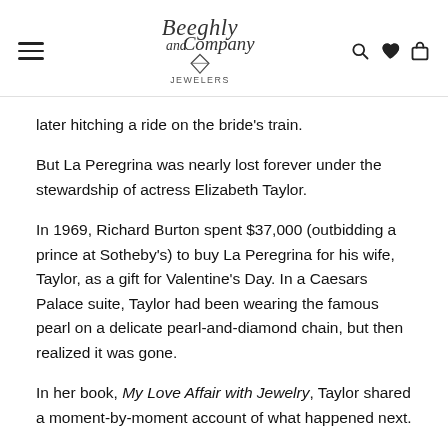Beeghly and Company Jewelers
later hitching a ride on the bride's train.
But La Peregrina was nearly lost forever under the stewardship of actress Elizabeth Taylor.
In 1969, Richard Burton spent $37,000 (outbidding a prince at Sotheby's) to buy La Peregrina for his wife, Taylor, as a gift for Valentine's Day. In a Caesars Palace suite, Taylor had been wearing the famous pearl on a delicate pearl-and-diamond chain, but then realized it was gone.
In her book, My Love Affair with Jewelry, Taylor shared a moment-by-moment account of what happened next.
"I glanced over at Richard and thank God he wasn't looking at me, and I went into the bedroom and threw myself on the bed, buried